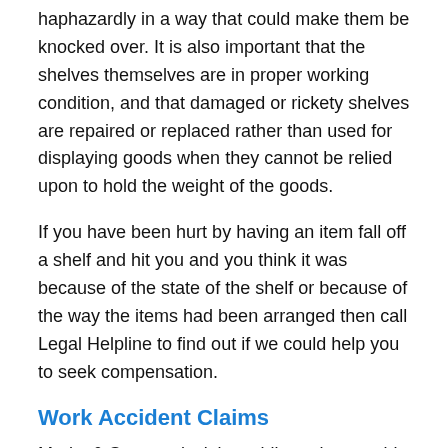haphazardly in a way that could make them be knocked over. It is also important that the shelves themselves are in proper working condition, and that damaged or rickety shelves are repaired or replaced rather than used for displaying goods when they cannot be relied upon to hold the weight of the goods.
If you have been hurt by having an item fall off a shelf and hit you and you think it was because of the state of the shelf or because of the way the items had been arranged then call Legal Helpline to find out if we could help you to seek compensation.
Work Accident Claims
Marks & Spencer isn't just obligated to provide a safe shopping environment for its customers; it must also ensure that it is a safe place to work for its employees. All